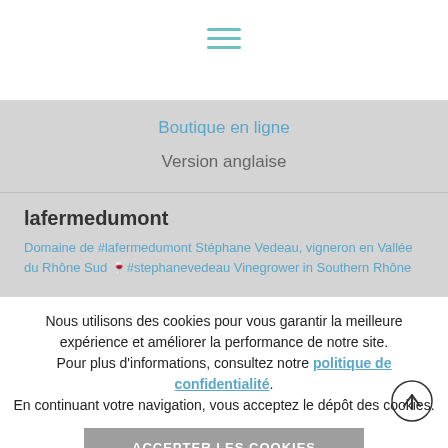[Figure (illustration): Hamburger menu icon with three teal horizontal lines]
Boutique en ligne
Version anglaise
lafermedumont
Domaine de #lafermedumont Stéphane Vedeau, vigneron en Vallée du Rhône Sud 🍷#stephanevedeau Vinegrower in Southern Rhône
Nous utilisons des cookies pour vous garantir la meilleure expérience et améliorer la performance de notre site.
Pour plus d'informations, consultez notre politique de confidentialité.
En continuant votre navigation, vous acceptez le dépôt des cookies.
ACCEPTER LES COOKIES